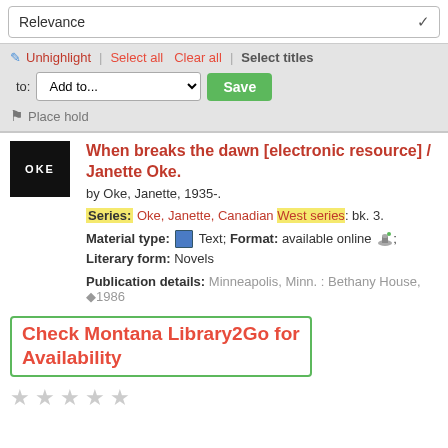Relevance
Unhighlight | Select all  Clear all | Select titles to: Add to...  Save  Place hold
[Figure (photo): Book cover thumbnail showing 'OKE' text on dark background]
When breaks the dawn [electronic resource] / Janette Oke.
by Oke, Janette, 1935-.
Series: Oke, Janette, Canadian West series: bk. 3.
Material type: Text; Format: available online; Literary form: Novels
Publication details: Minneapolis, Minn. : Bethany House, ◆1986
Check Montana Library2Go for Availability
★ ★ ★ ★ ★